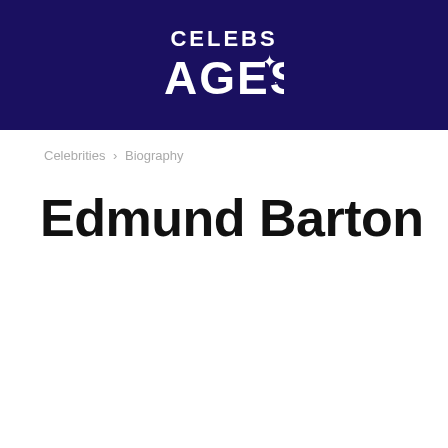CELEBS AGES
Celebrities › Biography
Edmund Barton